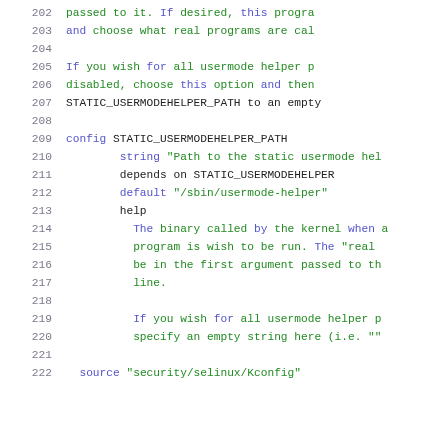202   passed to it.  If desired, this progra
203   and choose what real programs are cal
204
205   If you wish for all usermode helper p
206   disabled, choose this option and then
207   STATIC_USERMODEHELPER_PATH to an empt
208
209 config STATIC_USERMODEHELPER_PATH
210       string "Path to the static usermode hel
211       depends on STATIC_USERMODEHELPER
212       default "/sbin/usermode-helper"
213       help
214         The binary called by the kernel when a
215         program is wish to be run.  The "real
216         be in the first argument passed to th
217         line.
218
219         If you wish for all usermode helper p
220         specify an empty string here (i.e. ""
221
222   source "security/selinux/Kconfig"